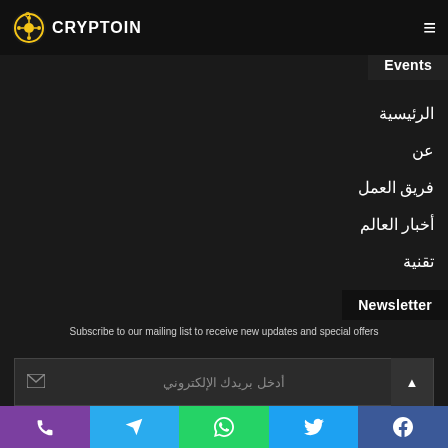QCRYPTOIN
Events
الرئيسية
عن
فريق العمل
أخبار العالم
تقنية
Newsletter
Subscribe to our mailing list to receive new updates and special offers
أدخل بريدك الإلكتروني